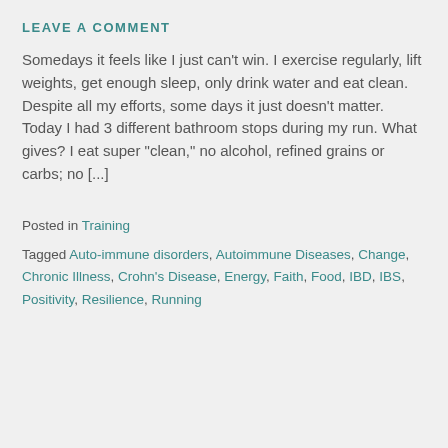LEAVE A COMMENT
Somedays it feels like I just can't win. I exercise regularly, lift weights, get enough sleep, only drink water and eat clean. Despite all my efforts, some days it just doesn't matter. Today I had 3 different bathroom stops during my run. What gives? I eat super "clean," no alcohol, refined grains or carbs; no [...]
Posted in Training
Tagged Auto-immune disorders, Autoimmune Diseases, Change, Chronic Illness, Crohn's Disease, Energy, Faith, Food, IBD, IBS, Positivity, Resilience, Running